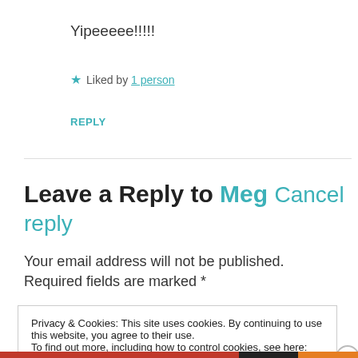Yipeeeee!!!!!
★ Liked by 1 person
REPLY
Leave a Reply to Meg Cancel reply
Your email address will not be published. Required fields are marked *
Privacy & Cookies: This site uses cookies. By continuing to use this website, you agree to their use.
To find out more, including how to control cookies, see here: Cookie Policy
Close and accept